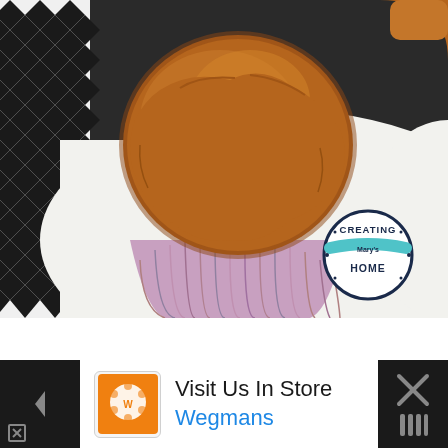[Figure (photo): Photo of a baked muffin in a colorful cupcake liner, placed on a white cloth/napkin on top of a black and white geometric patterned surface. A circular logo in the bottom-right area of the photo reads 'Creating Home Blog'. Another muffin is partially visible in the top-right corner.]
[Figure (logo): Advertisement bar at the bottom with Wegmans logo and text 'Visit Us In Store' with blue 'Wegmans' text, navigation arrow icon, and an X close button on dark background.]